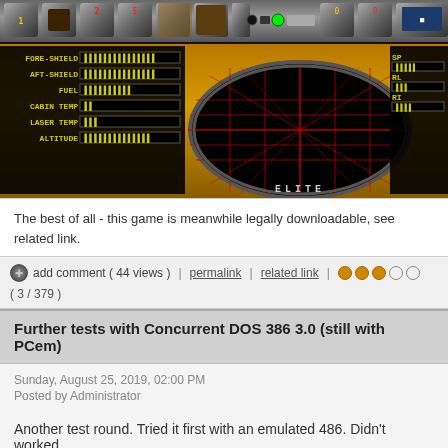[Figure (screenshot): Screenshot of the classic game Elite, showing the HUD with FORE-SHIELD, AFT-SHIELD, FUEL, CABIN TEMP, LASER TEMP, ALTITUDE gauges on the left, a central oval radar display with red grid lines, and additional gauges on the right. ELITE text at the bottom center.]
The best of all - this game is meanwhile legally downloadable, see related link.
add comment ( 44 views ) | permalink | related link | ●●●○○ ( 3 / 379 )
Further tests with Concurrent DOS 386 3.0 (still with PCem)
Sunday, August 25, 2019, 02:00 PM
Posted by Administrator
Another test round. Tried it first with an emulated 486. Didn't worked.